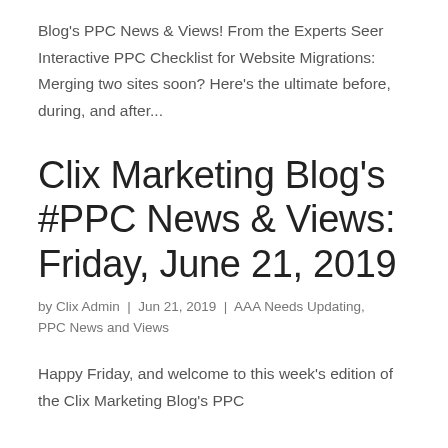Blog's PPC News & Views! From the Experts Seer Interactive PPC Checklist for Website Migrations: Merging two sites soon? Here's the ultimate before, during, and after...
Clix Marketing Blog's #PPC News & Views: Friday, June 21, 2019
by Clix Admin | Jun 21, 2019 | AAA Needs Updating, PPC News and Views
Happy Friday, and welcome to this week's edition of the Clix Marketing Blog's PPC